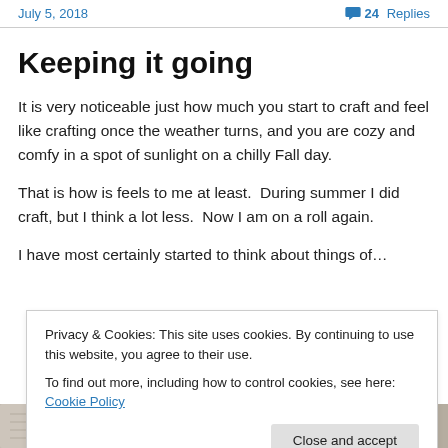July 5, 2018   24 Replies
Keeping it going
It is very noticeable just how much you start to craft and feel like crafting once the weather turns, and you are cozy and comfy in a spot of sunlight on a chilly Fall day.
That is how is feels to me at least.  During summer I did craft, but I think a lot less.  Now I am on a roll again.
I have text continuing below the fold...
Privacy & Cookies: This site uses cookies. By continuing to use this website, you agree to their use.
To find out more, including how to control cookies, see here: Cookie Policy
Close and accept
[Figure (photo): Partial view of a knitted or crocheted item at the bottom of the page]